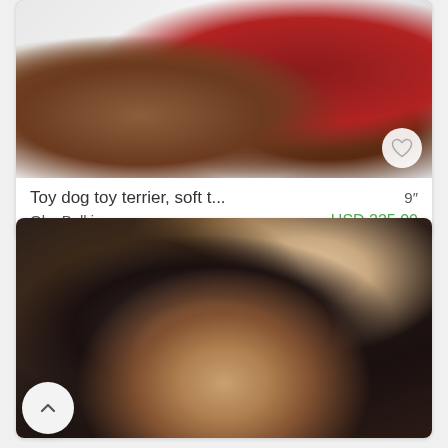[Figure (photo): Photo of a toy dog terrier wearing a red knitted sweater, lying on a white fluffy rug next to a ball of brown twine/yarn]
Toy dog toy terrier, soft t...    9″
OlgaBelkina    USD 225.00
[Figure (photo): Photo of a dark-colored cat doll/toy figure with expressive eyes, surrounded by dark fabric and tulle]
[Figure (other): Scroll-up navigation button (chevron up arrow in a white circle)]